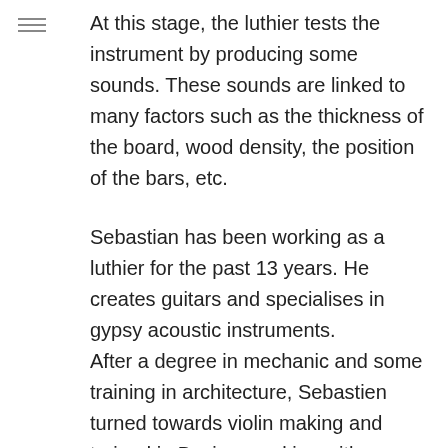At this stage, the luthier tests the instrument by producing some sounds. These sounds are linked to many factors such as the thickness of the board, wood density, the position of the bars, etc.
Sebastian has been working as a luthier for the past 13 years. He creates guitars and specialises in gypsy acoustic instruments. After a degree in mechanic and some training in architecture, Sebastien turned towards violin making and trained in Beziers working with some